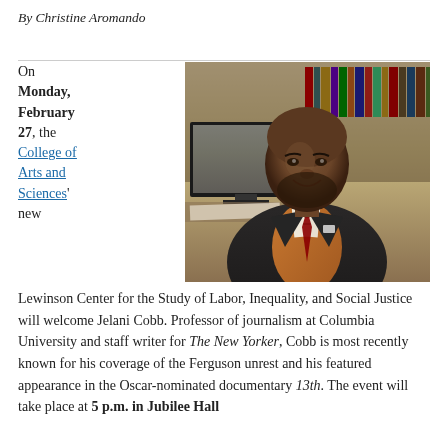By Christine Aromando
[Figure (photo): Portrait photo of Jelani Cobb, a man in a dark suit with an orange vest and patterned tie, seated in front of bookshelves and a computer monitor]
On Monday, February 27, the College of Arts and Sciences' new Lewinson Center for the Study of Labor, Inequality, and Social Justice will welcome Jelani Cobb. Professor of journalism at Columbia University and staff writer for The New Yorker, Cobb is most recently known for his coverage of the Ferguson unrest and his featured appearance in the Oscar-nominated documentary 13th. The event will take place at 5 p.m. in Jubilee Hall